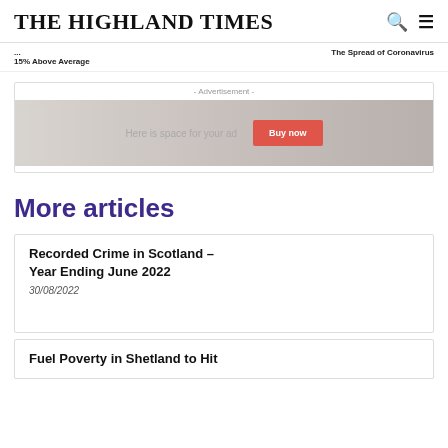THE HIGHLAND TIMES
15% Above Average
The Spread of Coronavirus
[Figure (other): Advertisement banner with text 'Here is space for your ad' and a red 'Buy now' button]
More articles
Recorded Crime in Scotland – Year Ending June 2022
30/08/2022
Fuel Poverty in Shetland to Hit